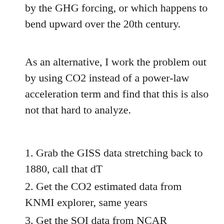by the GHG forcing, or which happens to bend upward over the 20th century.
As an alternative, I work the problem out by using CO2 instead of a power-law acceleration term and find that this is also not that hard to analyze.
1. Grab the GISS data stretching back to 1880, call that dT
2. Get the CO2 estimated data from KNMI explorer, same years
3. Get the SOI data from NCAR
4. Get the LOD from the site that Curry referenced in the last paper
5. Get estimated relative volcanic forcings from the BEST spreadsheet
6. Get the TSI data from WFT